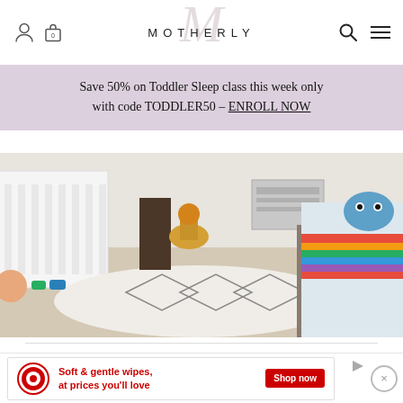MOTHERLY
Save 50% on Toddler Sleep class this week only with code TODDLER50 – ENROLL NOW
[Figure (photo): A child's bedroom with a white crib on the left, a geometric patterned white rug in the center, toy cars under the crib, and a toddler bed with colorful striped blanket and blue monster pillow on the right.]
Latest Videos
[Figure (screenshot): Dark video thumbnail area, partially visible.]
[Figure (infographic): Target advertisement banner: red Target logo circle, text 'Soft & gentle wipes, at prices you'll love', red 'Shop now' button, and a close (X) button on the right.]